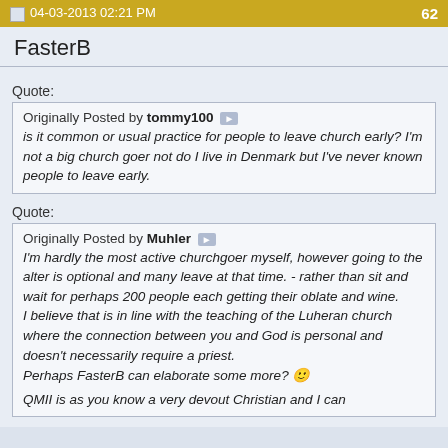04-03-2013 02:21 PM   62
FasterB
Quote:
Originally Posted by tommy100
is it common or usual practice for people to leave church early? I'm not a big church goer not do I live in Denmark but I've never known people to leave early.
Quote:
Originally Posted by Muhler
I'm hardly the most active churchgoer myself, however going to the alter is optional and many leave at that time. - rather than sit and wait for perhaps 200 people each getting their oblate and wine.
I believe that is in line with the teaching of the Luheran church where the connection between you and God is personal and doesn't necessarily require a priest.
Perhaps FasterB can elaborate some more? 
QMII is as you know a very devout Christian and I can